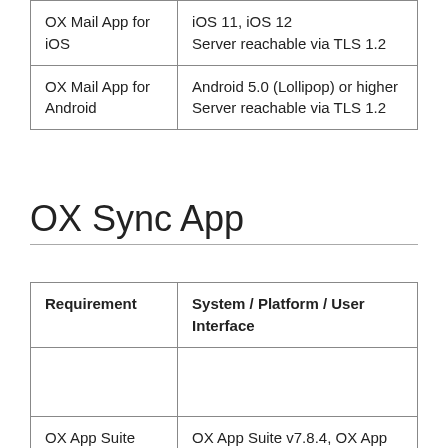|  |  |
| --- | --- |
| OX Mail App for iOS | iOS 11, iOS 12
Server reachable via TLS 1.2 |
| OX Mail App for Android | Android 5.0 (Lollipop) or higher
Server reachable via TLS 1.2 |
OX Sync App
| Requirement | System / Platform / User Interface |
| --- | --- |
|  |  |
| OX App Suite | OX App Suite v7.8.4, OX App Suite v7.10.1, OX App Suite v7.10.2 |
| OX Sync App for Android | Smartphone on Android 4.0 or later |